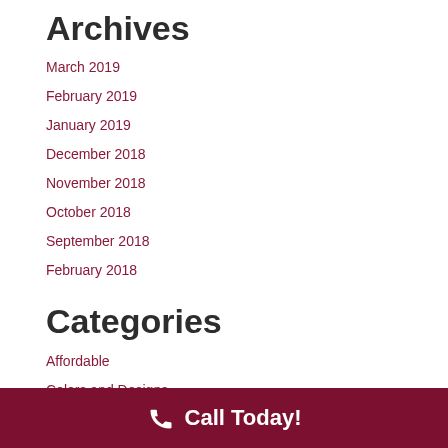Archives
March 2019
February 2019
January 2019
December 2018
November 2018
October 2018
September 2018
February 2018
Categories
Affordable
Colors and Designs
Call Today!